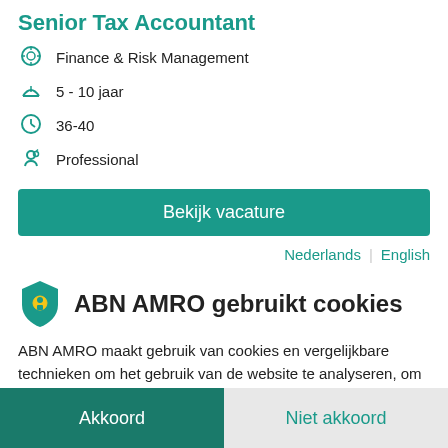Senior Tax Accountant
Finance & Risk Management
5 - 10 jaar
36-40
Professional
Bekijk vacature
Nederlands | English
ABN AMRO gebruikt cookies
ABN AMRO maakt gebruik van cookies en vergelijkbare technieken om het gebruik van de website te analyseren, om het mogelijk te maken content via social media te delen en om de inhoud van de site en advertenties af te
Akkoord
Niet akkoord